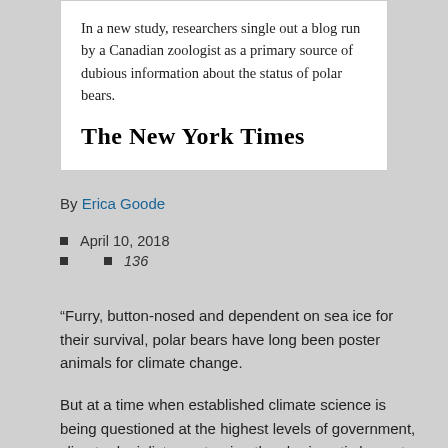In a new study, researchers single out a blog run by a Canadian zoologist as a primary source of dubious information about the status of polar bears.
[Figure (logo): The New York Times logo in blackletter typeface]
By Erica Goode
April 10, 2018
136
“Furry, button-nosed and dependent on sea ice for their survival, polar bears have long been poster animals for climate change.
But at a time when established climate science is being questioned at the highest levels of government, climate denialists are turning the charismatic bears to their own uses, capitalizing on their symbolic heft to spread doubts about the threat of global warming.